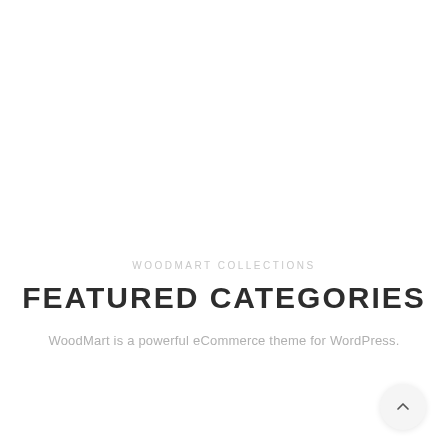WOODMART COLLECTIONS
FEATURED CATEGORIES
WoodMart is a powerful eCommerce theme for WordPress.